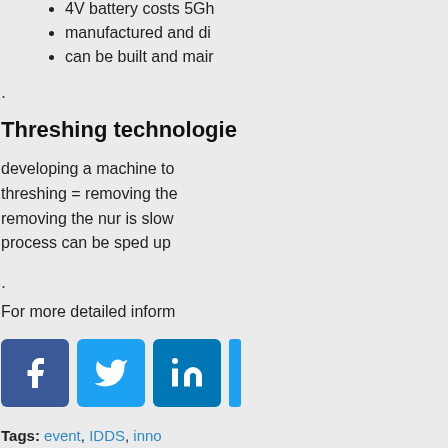4V battery costs 5Gh
manufactured and di
can be built and mair
.
Threshing technologie
developing a machine to
threshing = removing the
removing the nur is slow
process can be sped up
.
For more detailed inform
[Figure (infographic): Social media sharing icons: Facebook (blue), Twitter (light blue), LinkedIn (blue)]
Tags: event, IDDS, inno
IDDS – final presentati
was published on 12.08.
You can follow any respe